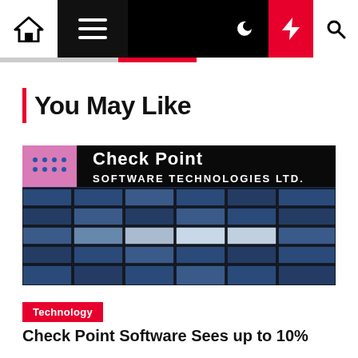Navigation bar with home, menu, dark mode, lightning/breaking news, and search icons
You May Like
[Figure (photo): Check Point Software Technologies Ltd. building facade with blue tiled exterior and signage]
Technology
Check Point Software Sees up to 10%